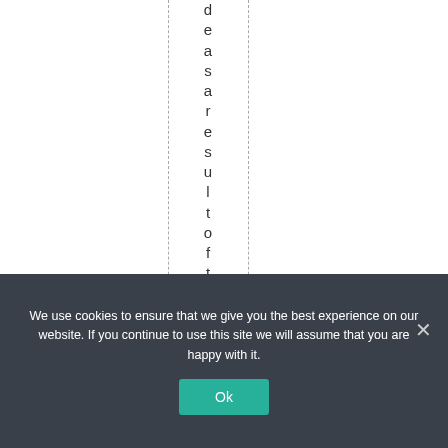d e a s a r e s u l t o f t h i s p
We use cookies to ensure that we give you the best experience on our website. If you continue to use this site we will assume that you are happy with it.